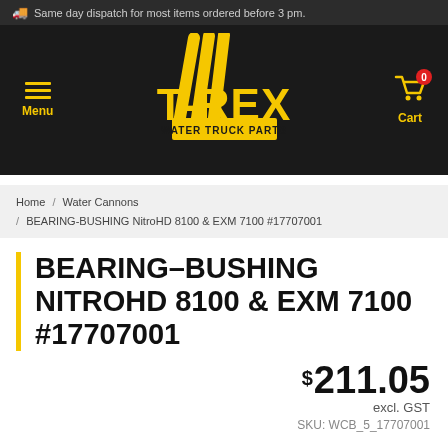🚚 Same day dispatch for most items ordered before 3 pm.
[Figure (logo): T-REX Water Truck Parts logo with yellow claw marks and stylized text on dark background, with Menu and Cart navigation buttons]
Home / Water Cannons / BEARING-BUSHING NitroHD 8100 & EXM 7100 #17707001
BEARING-BUSHING NITROHD 8100 & EXM 7100 #17707001
$211.05 excl. GST
SKU: WCB_5_17707001